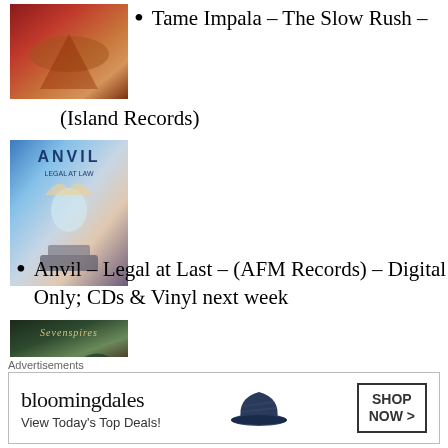Tame Impala – The Slow Rush – (Island Records)
[Figure (photo): Album cover for Tame Impala - The Slow Rush showing desert dunes in warm red/orange tones]
Anvil – Legal at Last – (AFM Records) – Digital Only; CDs & Vinyl next week
[Figure (photo): Album cover for Anvil - Legal at Last showing an angel figure with the ANVIL logo text]
Seven Spires – Emerald Seas –
[Figure (photo): Album cover for Seven Spires - Emerald Seas with dark fantasy art and Seven Spires text]
Advertisements
[Figure (other): Bloomingdale's advertisement banner: 'View Today's Top Deals!' with 'SHOP NOW >' button]